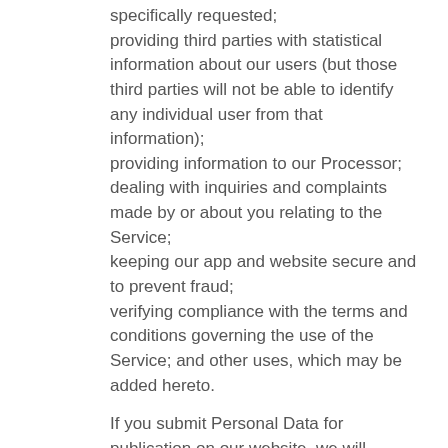specifically requested;
providing third parties with statistical information about our users (but those third parties will not be able to identify any individual user from that information);
providing information to our Processor;
dealing with inquiries and complaints made by or about you relating to the Service;
keeping our app and website secure and to prevent fraud;
verifying compliance with the terms and conditions governing the use of the Service; and other uses, which may be added hereto.
If you submit Personal Data for publication on our website, we will publish and otherwise use that information in accordance with the license you grant to us.
We will not, without your express consent, supply your Personal Data to any third party (other than our Processor) for their or any other third party's direct marketing.